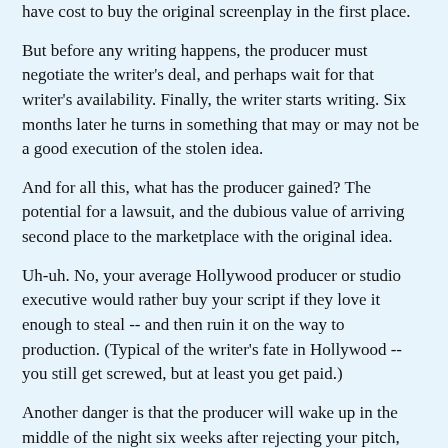have cost to buy the original screenplay in the first place.
But before any writing happens, the producer must negotiate the writer's deal, and perhaps wait for that writer's availability. Finally, the writer starts writing. Six months later he turns in something that may or may not be a good execution of the stolen idea.
And for all this, what has the producer gained? The potential for a lawsuit, and the dubious value of arriving second place to the marketplace with the original idea.
Uh-uh. No, your average Hollywood producer or studio executive would rather buy your script if they love it enough to steal -- and then ruin it on the way to production. (Typical of the writer's fate in Hollywood -- you still get screwed, but at least you get paid.)
Another danger is that the producer will wake up in the middle of the night six weeks after rejecting your pitch, yelling "I've got it! Murder mystery! Triplets! It's never been done!"
My last few columns have dealt with the importance of finding that great screenplay concept. Let's say you've got one. So how do you protect it once you've found it?
WRITE THE DAMN THING. The sooner it's written, the sooner it can be registered and protected. And all the better to head off